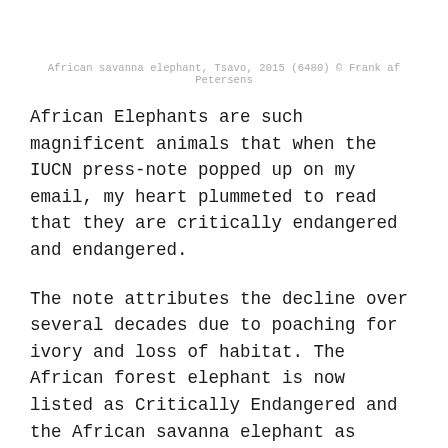African savanna elephant, Tsavo, 2015 (6480) © Frank af Petersens
African Elephants are such magnificent animals that when the IUCN press-note popped up on my email, my heart plummeted to read that they are critically endangered and endangered.
The note attributes the decline over several decades due to poaching for ivory and loss of habitat. The African forest elephant is now listed as Critically Endangered and the African savanna elephant as Endangered on the IUCN Red List of Threatened Species. African elephants were treated as a single species, listed as Vulnerable; this is the first time the two species have been